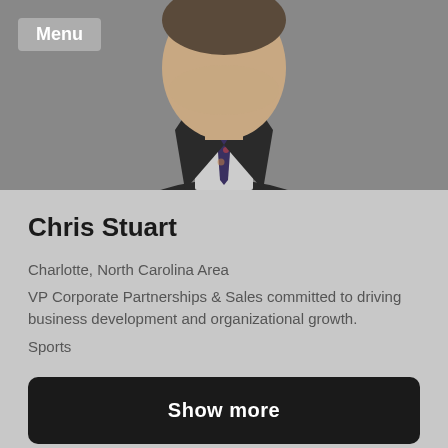[Figure (photo): Professional headshot photo of a man in a dark suit and tie, cropped at upper chest, with a gray background.]
Menu
Chris Stuart
Charlotte, North Carolina Area
VP Corporate Partnerships & Sales committed to driving business development and organizational growth.
Sports
Show more